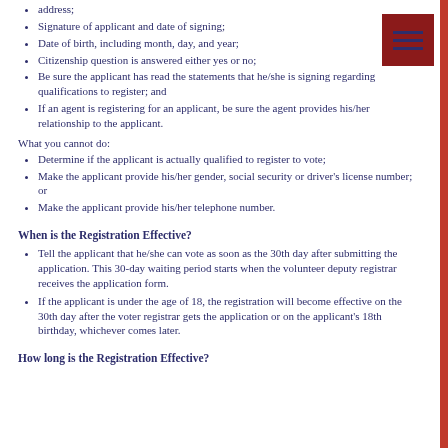address;
Signature of applicant and date of signing;
Date of birth, including month, day, and year;
Citizenship question is answered either yes or no;
Be sure the applicant has read the statements that he/she is signing regarding qualifications to register; and
If an agent is registering for an applicant, be sure the agent provides his/her relationship to the applicant.
What you cannot do:
Determine if the applicant is actually qualified to register to vote;
Make the applicant provide his/her gender, social security or driver's license number; or
Make the applicant provide his/her telephone number.
When is the Registration Effective?
Tell the applicant that he/she can vote as soon as the 30th day after submitting the application. This 30-day waiting period starts when the volunteer deputy registrar receives the application form.
If the applicant is under the age of 18, the registration will become effective on the 30th day after the voter registrar gets the application or on the applicant's 18th birthday, whichever comes later.
How long is the Registration Effective?